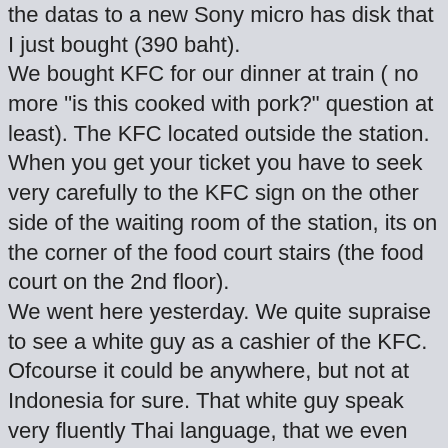the datas to a new Sony micro has disk that I just bought (390 baht). We bought KFC for our dinner at train ( no more "is this cooked with pork?" question at least). The KFC located outside the station. When you get your ticket you have to seek very carefully to the KFC sign on the other side of the waiting room of the station, its on the corner of the food court stairs (the food court on the 2nd floor). We went here yesterday. We quite supraise to see a white guy as a cashier of the KFC. Ofcourse it could be anywhere, but not at Indonesia for sure. That white guy speak very fluently Thai language, that we even re-thought that he might 50% Thai (he is absolutely physicly 100% white guy).
Our train number was 15. We got the last seat. Its not really a seat, at night it will become a bed. Both of us choose the upper bed, with fan and its rapid train. The ticket price is 491 baht for each.
[Figure (photo): Photo of a train car sign showing 'CAR NO 15' in Thai and English, dated 08/31/2007]
The train leaving the bangkok station at straight 2.30pm and we will arrive at 6.00 in Chiangmai.